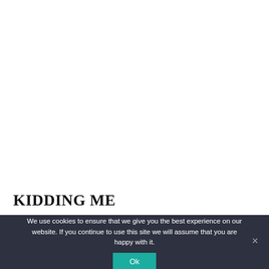KIDDING ME
We use cookies to ensure that we give you the best experience on our website. If you continue to use this site we will assume that you are happy with it.